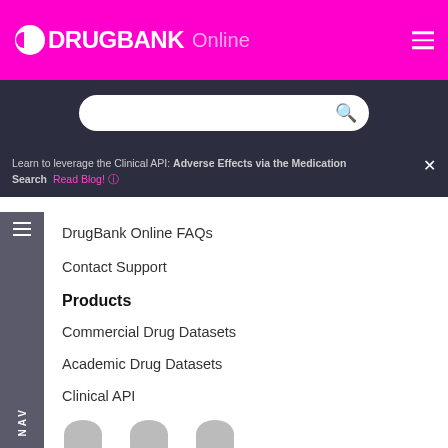DRUGBANK Online
Learn to leverage the Clinical API: Adverse Effects via the Medication Search  Read Blog! →
DrugBank Online FAQs
Contact Support
Products
Commercial Drug Datasets
Academic Drug Datasets
Clinical API
Contact Sales